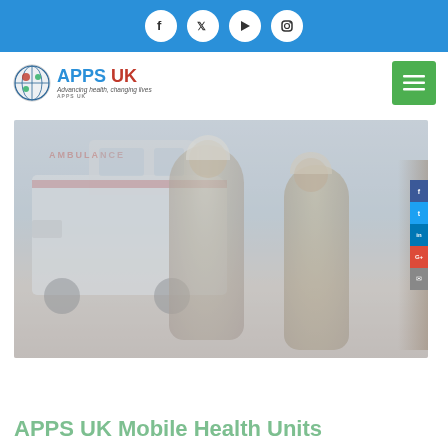Social media icons bar: Facebook, Twitter, YouTube, Instagram
[Figure (logo): APPS UK logo with circular emblem and tagline 'Advancing health, changing lives']
[Figure (photo): Photo of ambulance vehicle with two people standing in front, misty/foggy conditions. Side social share buttons visible on right edge.]
APPS UK Mobile Health Units